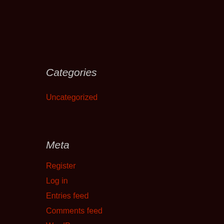Categories
Uncategorized
Meta
Register
Log in
Entries feed
Comments feed
WordPress.org